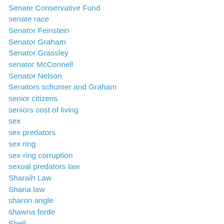Senate Conservative Fund
senate race
Senator Feinstein
Senator Graham
Senator Grassley
senator McConnell
Senator Nelson
Senators schumer and Graham
senior citizens
seniors cost of living
sex
sex predators
sex ring
sex-ring corruption
sexual predators law
Sharaih Law
Sharia law
sharon angle
shawna forde
Shell